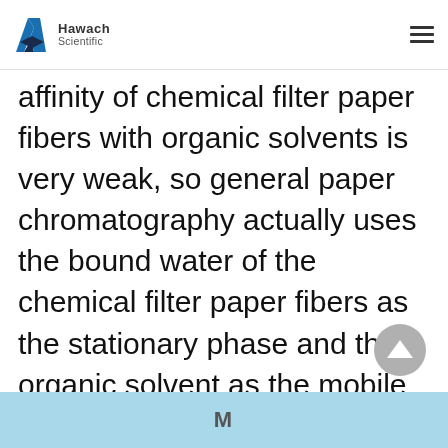Hawach Scientific
affinity of chemical filter paper fibers with organic solvents is very weak, so general paper chromatography actually uses the bound water of the chemical filter paper fibers as the stationary phase and the organic solvent as the mobile phase. When the mobile phase passes through the sample along with the paper, the solute on the sample point is the water and the organic phase are continuously distributed.
M